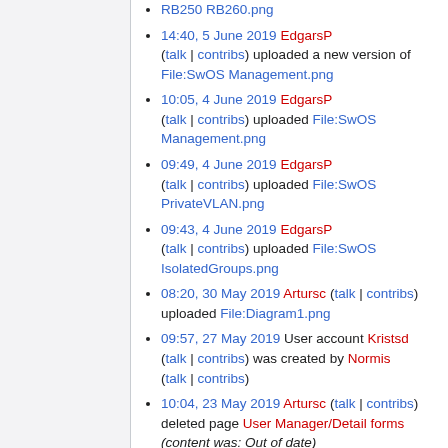RB250 RB260.png
14:40, 5 June 2019 EdgarsP (talk | contribs) uploaded a new version of File:SwOS Management.png
10:05, 4 June 2019 EdgarsP (talk | contribs) uploaded File:SwOS Management.png
09:49, 4 June 2019 EdgarsP (talk | contribs) uploaded File:SwOS PrivateVLAN.png
09:43, 4 June 2019 EdgarsP (talk | contribs) uploaded File:SwOS IsolatedGroups.png
08:20, 30 May 2019 Artursc (talk | contribs) uploaded File:Diagram1.png
09:57, 27 May 2019 User account Kristsd (talk | contribs) was created by Normis (talk | contribs)
10:04, 23 May 2019 Artursc (talk | contribs) deleted page User Manager/Detail forms (content was: Out of date)
10:04, 23 May 2019 Artursc (talk | contribs) deleted page User Manager/Printing